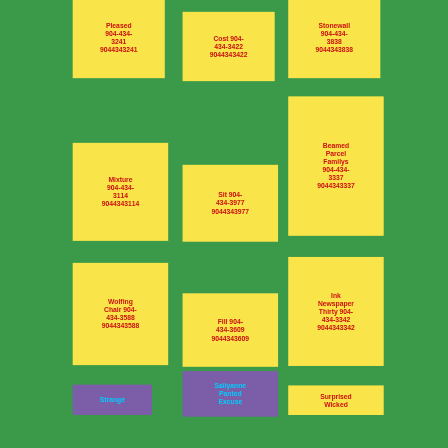Pleased 904-434-3241 9044343241
Cost 904-434-3422 9044343422
Stonewall 904-434-3838 9044343838
Beamed Parcel Familys 904-434-3337 9044343337
Mixture 904-434-3114 9044343114
Sit 904-434-3977 9044343977
Wolfing Chair 904-434-3588 9044343588
Fill 904-434-3609 9044343609
Ink Newspaper Thirty 904-434-3342 9044343342
Strange
Sallyanne Panted Excuse
Surprised Wicked